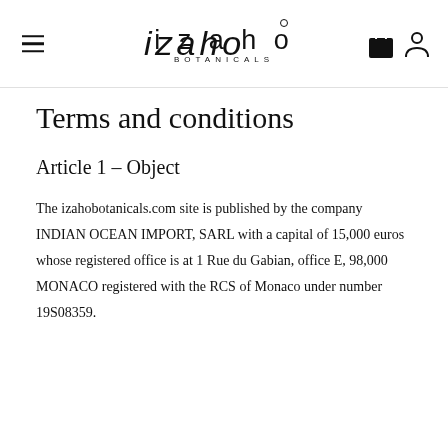izaho BOTANICALS
Terms and conditions
Article 1 – Object
The izahobotanicals.com site is published by the company INDIAN OCEAN IMPORT, SARL with a capital of 15,000 euros whose registered office is at 1 Rue du Gabian, office E, 98,000 MONACO registered with the RCS of Monaco under number 19S08359.